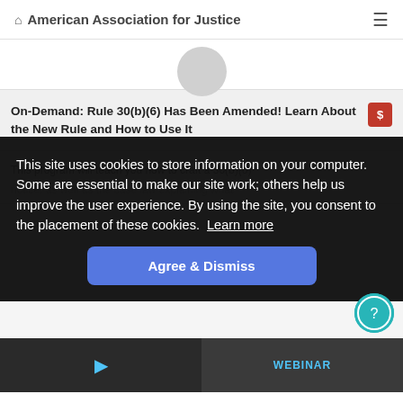American Association for Justice
On-Demand: Rule 30(b)(6) Has Been Amended! Learn About the New Rule and How to Use It
This program will teach you how to craft a 30(b)(6) notice, as well as the case law explaining what the notice should contain.
This site uses cookies to store information on your computer. Some are essential to make our site work; others help us improve the user experience. By using the site, you consent to the placement of these cookies. Learn more
Agree & Dismiss